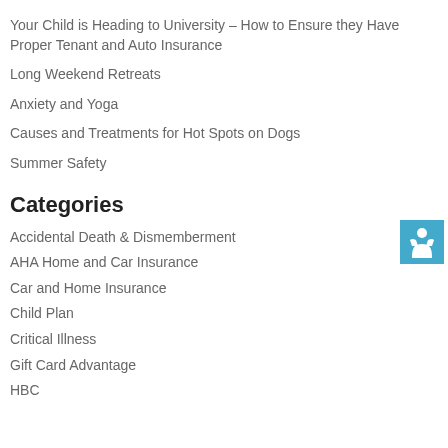Your Child is Heading to University – How to Ensure they Have Proper Tenant and Auto Insurance
Long Weekend Retreats
Anxiety and Yoga
Causes and Treatments for Hot Spots on Dogs
Summer Safety
Categories
Accidental Death & Dismemberment
AHA Home and Car Insurance
Car and Home Insurance
Child Plan
Critical Illness
Gift Card Advantage
HBC
[Figure (illustration): Blue square icon with a white person/human figure symbol]